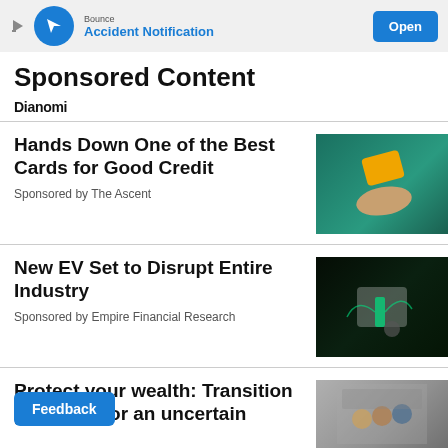[Figure (screenshot): Bounce Accident Notification app ad banner with blue circle icon and Open button]
Sponsored Content
Dianomi
Hands Down One of the Best Cards for Good Credit
Sponsored by The Ascent
[Figure (photo): Hand holding a yellow credit card on green background]
New EV Set to Disrupt Entire Industry
Sponsored by Empire Financial Research
[Figure (photo): Electric vehicle charging station with green light effects]
Protect your wealth: Transition plans for an uncertain
[Figure (photo): People standing in office/meeting room]
Feedback